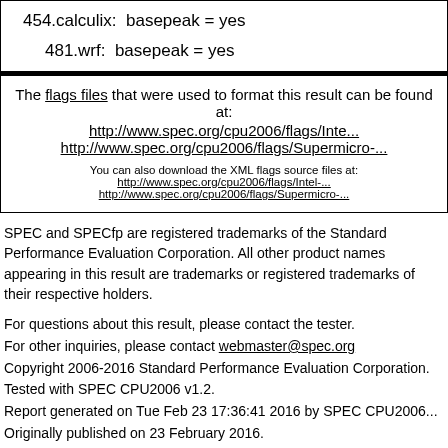454.calculix:  basepeak = yes
481.wrf:  basepeak = yes
The flags files that were used to format this result can be found at:
http://www.spec.org/cpu2006/flags/Inte...
http://www.spec.org/cpu2006/flags/Supermicro-...
You can also download the XML flags source
http://www.spec.org/cpu2006/flags/Intel-...
http://www.spec.org/cpu2006/flags/Supermicro-...
SPEC and SPECfp are registered trademarks of the Standard Performance Evaluation Corporation. All other product names appearing in this result are trademarks or registered trademarks of their respective holders.
For questions about this result, please contact the tester.
For other inquiries, please contact webmaster@spec.org
Copyright 2006-2016 Standard Performance Evaluation Corporation
Tested with SPEC CPU2006 v1.2.
Report generated on Tue Feb 23 17:36:41 2016 by SPEC CPU2006
Originally published on 23 February 2016.